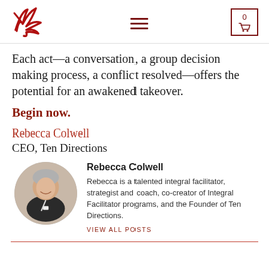Ten Directions logo, navigation menu, cart 0
Each act—a conversation, a group decision making process, a conflict resolved—offers the potential for an awakened takeover.
Begin now.
Rebecca Colwell
CEO, Ten Directions
[Figure (photo): Circular portrait photo of Rebecca Colwell, a woman with short grey hair, smiling, wearing a black top with a lanyard]
Rebecca Colwell
Rebecca is a talented integral facilitator, strategist and coach, co-creator of Integral Facilitator programs, and the Founder of Ten Directions.
VIEW ALL POSTS